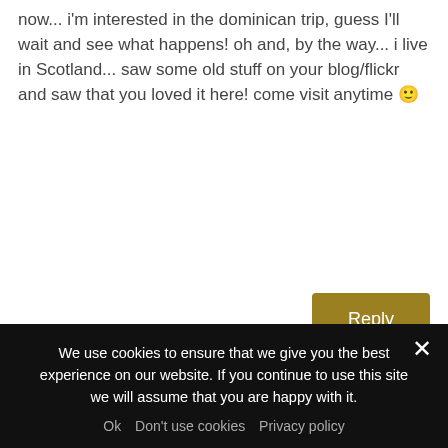now... i'm interested in the dominican trip, guess I'll wait and see what happens! oh and, by the way... i live in Scotland... saw some old stuff on your blog/flickr and saw that you loved it here! come visit anytime 🙂
Reply
Alicia on 07/07/2008 at 1:34 am
As someone who has attended 2 mission trips to the Dominican Republic, this trip greatly interest me. I have had the privilege of working with many of the children and have been to La
We use cookies to ensure that we give you the best experience on our website. If you continue to use this site we will assume that you are happy with it.
Ok  Don't use cookies  Privacy policy